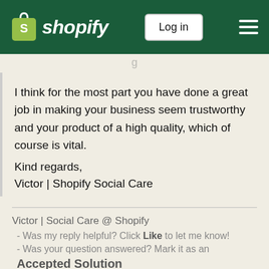Shopify | Log in
I think for the most part you have done a great job in making your business seem trustworthy and your product of a high quality, which of course is vital. Kind regards, Victor | Shopify Social Care
Victor | Social Care @ Shopify
 - Was my reply helpful? Click Like to let me know!
 - Was your question answered? Mark it as an Accepted Solution
View solution in original post